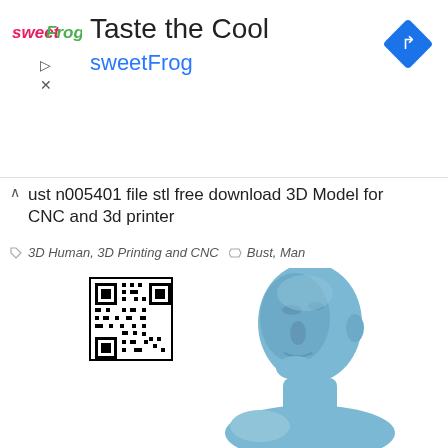[Figure (infographic): SweetFrog advertisement banner with logo, title 'Taste the Cool', subtitle 'sweetFrog', navigation icons, and a blue diamond turn-by-turn icon]
Bust n005401 file stl free download 3D Model for CNC and 3d printer
3D Human, 3D Printing and CNC   Bust, Man
[Figure (photo): 3D render of a blue human male bust sculpture (head and shoulders) with a QR code in the upper left area of the image region]